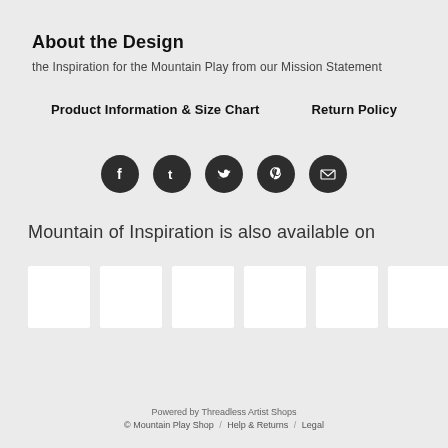About the Design
the Inspiration for the Mountain Play from our Mission Statement
Product Information & Size Chart      Return Policy
[Figure (infographic): Row of 5 circular dark social media icons: Facebook, Tumblr, Twitter, Pinterest, Email]
Mountain of Inspiration is also available on
[Figure (other): Row of 6 white product thumbnail boxes]
Powered by Threadless Artist Shops
© Mountain Play Shop  /  Help & Returns  /  Legal